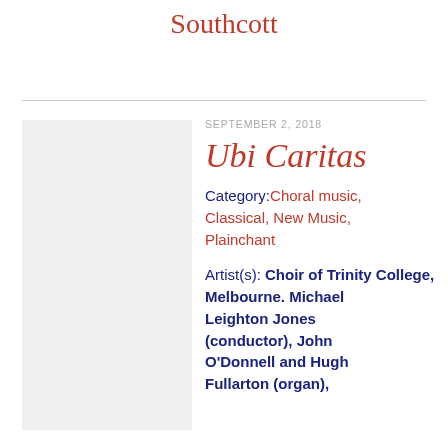Southcott
SEPTEMBER 2, 2018
Ubi Caritas
Category: Choral music, Classical, New Music, Plainchant
Artist(s): Choir of Trinity College, Melbourne. Michael Leighton Jones (conductor), John O'Donnell and Hugh Fullarton (organ),
[Figure (photo): Thumbnail image placeholder for the Ubi Caritas album or concert entry]